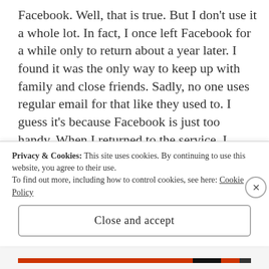Facebook. Well, that is true. But I don't use it a whole lot. In fact, I once left Facebook for a while only to return about a year later. I found it was the only way to keep up with family and close friends. Sadly, no one uses regular email for that like they used to. I guess it's because Facebook is just too handy. When I returned to the service, I realized how disconnected I was from everyone.
So, why do I complain about Facebook? Because of their lack of concern for our privacy, plain and simple. Oh, it goes beyond that though, but I consider the
Privacy & Cookies: This site uses cookies. By continuing to use this website, you agree to their use.
To find out more, including how to control cookies, see here: Cookie Policy
Close and accept